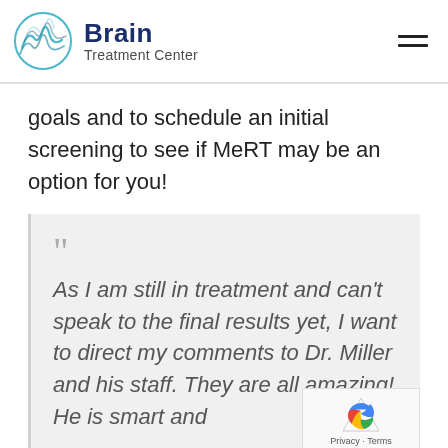Brain Treatment Center
goals and to schedule an initial screening to see if MeRT may be an option for you!
““ As I am still in treatment and can’t speak to the final results yet, I want to direct my comments to Dr. Miller and his staff. They are all amazing! He is smart and